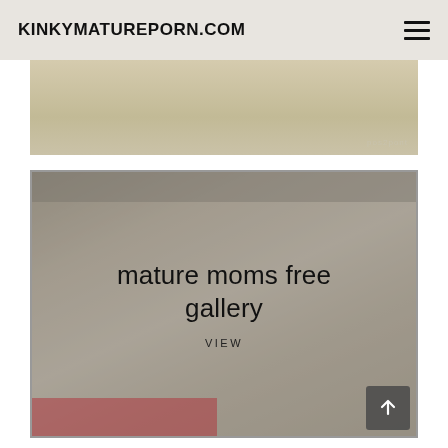KINKYMATUREPORN.COM
[Figure (photo): Partial view of a bathtub scene, cropped at top of page]
[Figure (photo): Main card image showing person in bathtub with overlay text 'mature moms free gallery' and 'VIEW' link, plus scroll-to-top button]
mature moms free gallery
VIEW